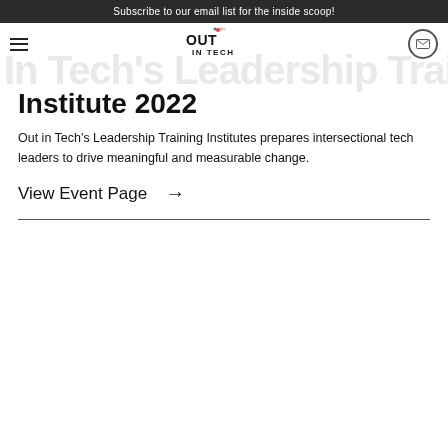Subscribe to our email list for the inside scoop!
[Figure (logo): Out in Tech logo with colorful dot above the 'i' in OUT, with hamburger menu icon on left and mail icon in circle on right]
Institute 2022
Out in Tech's Leadership Training Institutes prepares intersectional tech leaders to drive meaningful and measurable change.
View Event Page →